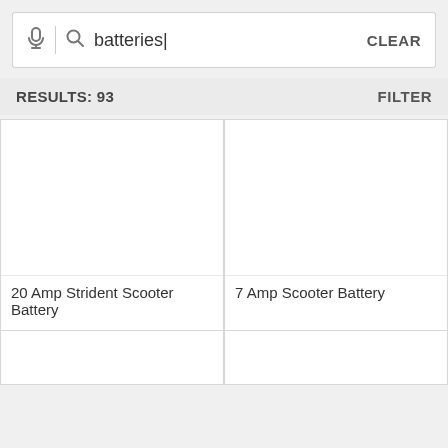batteries
RESULTS: 93
FILTER
20 Amp Strident Scooter Battery
7 Amp Scooter Battery